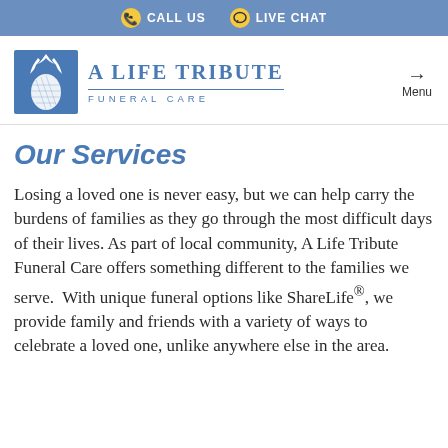CALL US  LIVE CHAT
[Figure (logo): A Life Tribute Funeral Care logo with pineapple icon and text]
Our Services
Losing a loved one is never easy, but we can help carry the burdens of families as they go through the most difficult days of their lives. As part of local community, A Life Tribute Funeral Care offers something different to the families we serve.  With unique funeral options like ShareLife®, we provide family and friends with a variety of ways to celebrate a loved one, unlike anywhere else in the area.